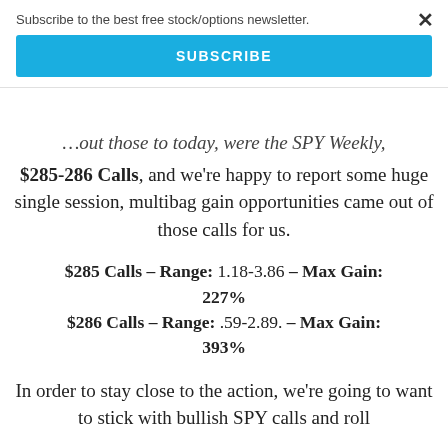Subscribe to the best free stock/options newsletter.
SUBSCRIBE
$285-286 Calls, and we're happy to report some huge single session, multibag gain opportunities came out of those calls for us.
$285 Calls – Range: 1.18-3.86 – Max Gain: 227%
$286 Calls – Range: .59-2.89. – Max Gain: 393%
In order to stay close to the action, we're going to want to stick with bullish SPY calls and roll